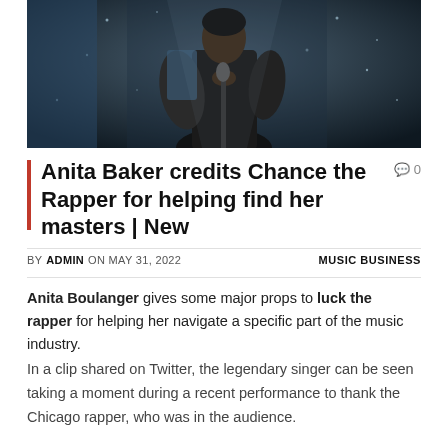[Figure (photo): A performer on stage in dark clothing holding a microphone, with a sparkly blue/dark background behind them.]
Anita Baker credits Chance the Rapper for helping find her masters | New
BY ADMIN ON MAY 31, 2022   MUSIC BUSINESS
Anita Boulanger gives some major props to luck the rapper for helping her navigate a specific part of the music industry.
In a clip shared on Twitter, the legendary singer can be seen taking a moment during a recent performance to thank the Chicago rapper, who was in the audience.